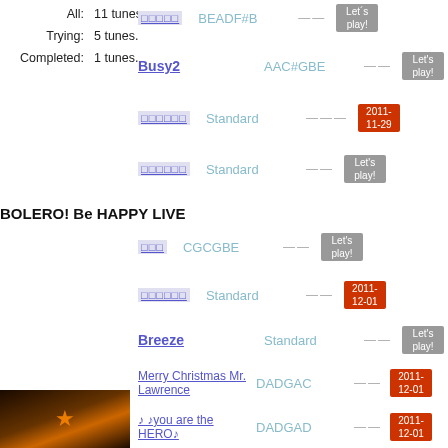All: 11 tunes. Trying: 5 tunes. Completed: 1 tunes.
[Japanese] BEADF#B — Let's play!
Busy2 AAC#GBE — Let's play!
[Japanese] Standard — 2011-11-29
[Japanese] Standard — Let's play!
BOLERO! Be HAPPY LIVE
[Japanese] CGCGBE — Let's play!
[Japanese] Standard — 2011-12-01
Breeze Standard — Let's play!
Merry Christmas Mr. Lawrence DADGAC — 2011-12-01
♪ ♪you are the HERO♪ DADGAD — 2011-12-01
[Figure (photo): Photo of performer on stage with orange/warm lighting, BOLERO event]